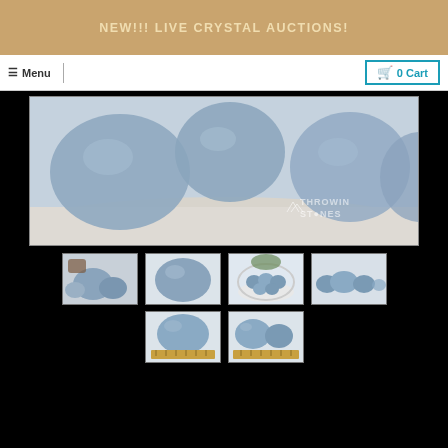NEW!!! LIVE CRYSTAL AUCTIONS!
Menu
0 Cart
[Figure (photo): Main product image showing blue Angelite/Celestite tumbled stones on a white sandy surface with Throwin Stones watermark]
[Figure (photo): Thumbnail 1: Blue tumbled stones with brown piece on white background]
[Figure (photo): Thumbnail 2: Single large blue tumbled stone on white background]
[Figure (photo): Thumbnail 3: Multiple blue tumbled stones in a white bowl]
[Figure (photo): Thumbnail 4: Several blue tumbled stones arranged by size on white background]
[Figure (photo): Thumbnail 5: Blue tumbled stone next to a wooden ruler for size reference]
[Figure (photo): Thumbnail 6: Two blue tumbled stones next to a wooden ruler for size reference]